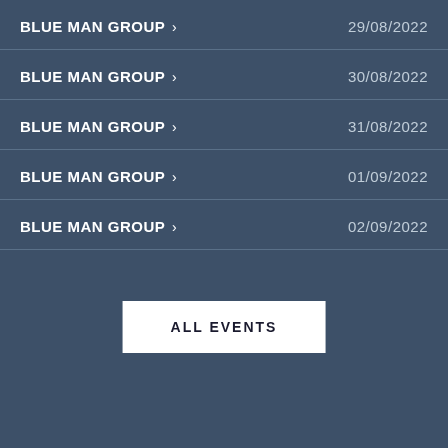BLUE MAN GROUP > 29/08/2022
BLUE MAN GROUP > 30/08/2022
BLUE MAN GROUP > 31/08/2022
BLUE MAN GROUP > 01/09/2022
BLUE MAN GROUP > 02/09/2022
ALL EVENTS